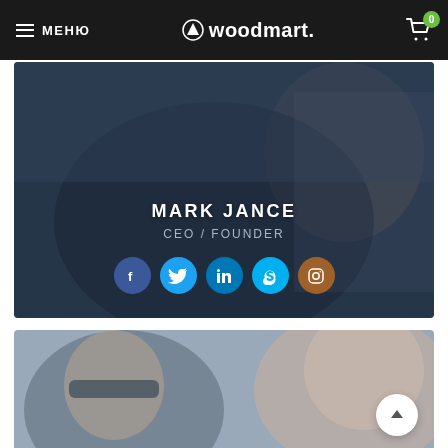МЕНЮ | woodmart. | Cart 0
[Figure (photo): Team member card with blurred dark blue background showing a person in dark clothing. Text overlay shows name MARK JANCE, title CEO / FOUNDER, and five social media icon buttons (Facebook, Twitter, LinkedIn, Skype, Instagram).]
[Figure (photo): Partially visible team member card showing a blurred photo of a person wearing sunglasses, with another person visible to the right.]